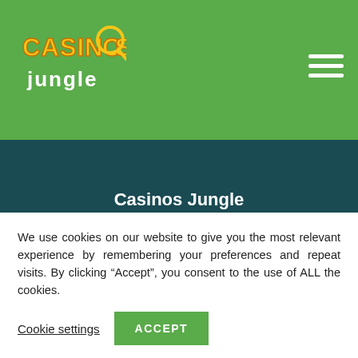[Figure (logo): Casinos Jungle logo with yellow/orange stylized text on green background]
Casinos Jungle
About
Privacy Policy
Terms & Conditions
We use cookies on our website to give you the most relevant experience by remembering your preferences and repeat visits. By clicking “Accept”, you consent to the use of ALL the cookies.
Cookie settings
ACCEPT